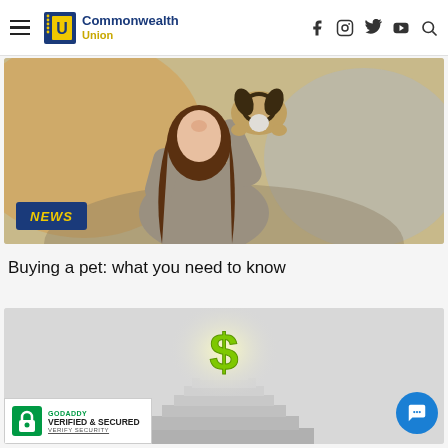Commonwealth Union — Navigation header with hamburger menu, logo, and social icons (Facebook, Instagram, Twitter, YouTube, Search)
[Figure (photo): Woman smiling and holding a puppy up to her face, outdoors with blurred background. NEWS badge overlay in bottom-left.]
Buying a pet: what you need to know
[Figure (photo): Green dollar sign symbol on a pedestal with glowing light, staircase leading up to it, on grey background.]
[Figure (logo): GoDaddy Verified & Secured badge with lock icon. Text: GODADDY, VERIFIED & SECURED, VERIFY SECURITY]
[Figure (other): Blue circular chat/message button in bottom right corner.]